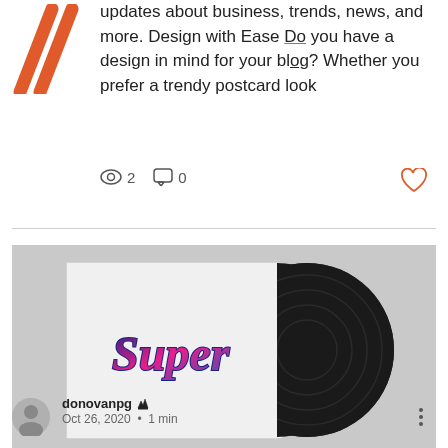[Figure (logo): Orange double-slash logo mark]
updates about business, trends, news, and more. Design with Ease Do you have a design in mind for your blog? Whether you prefer a trendy postcard look
2  0
[Figure (photo): Vinyl record album with white cover sleeve labeled 'Super' in colorful script lettering, shown against grey background]
donovanpg  Oct 26, 2020  •  1 min